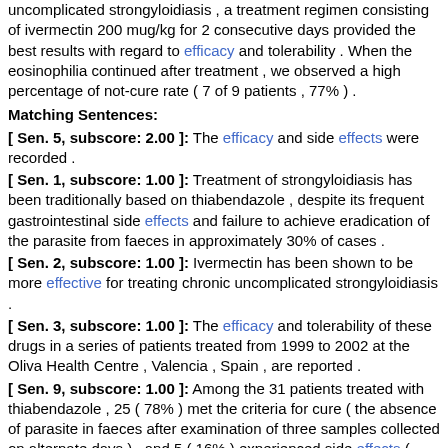uncomplicated strongyloidiasis , a treatment regimen consisting of ivermectin 200 mug/kg for 2 consecutive days provided the best results with regard to efficacy and tolerability . When the eosinophilia continued after treatment , we observed a high percentage of not-cure rate ( 7 of 9 patients , 77% ) .
Matching Sentences:
[ Sen. 5, subscore: 2.00 ]: The efficacy and side effects were recorded .
[ Sen. 1, subscore: 1.00 ]: Treatment of strongyloidiasis has been traditionally based on thiabendazole , despite its frequent gastrointestinal side effects and failure to achieve eradication of the parasite from faeces in approximately 30% of cases .
[ Sen. 2, subscore: 1.00 ]: Ivermectin has been shown to be more effective for treating chronic uncomplicated strongyloidiasis .
[ Sen. 3, subscore: 1.00 ]: The efficacy and tolerability of these drugs in a series of patients treated from 1999 to 2002 at the Oliva Health Centre , Valencia , Spain , are reported .
[ Sen. 9, subscore: 1.00 ]: Among the 31 patients treated with thiabendazole , 25 ( 78% ) met the criteria for cure ( the absence of parasite in faeces after examination of three samples collected on alternate days ) , and 5 ( 16% ) experienced side effects ( asthenia , epigastralgia and disorientation ) .
[ Sen. 10, subscore: 1.00 ]: Of the 22 patients treated with ivermectin on a single day , 17 ( 77% ) met the criteria for cure , and 2 ( 9% ) reported side effects ( dizziness , dyspepsia ) .
[ Sen. 11, subscore: 1.00 ]: Among the 35 patients treated with ivermectin on 2 consecutive days , 100% met the criteria for cure , and 0% experienced side effects .
[ Sen. 12, subscore: 1.00 ]: In chronic uncomplicated strongyloidiasis , a treatment regimen consisting of ivermectin 200 mug/kg for 2 consecutive days provided the best results with regard to efficacy and